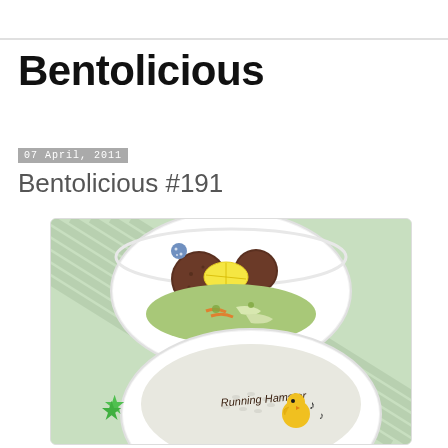Bentolicious
07 April, 2011
Bentolicious #191
[Figure (photo): A bento box photo showing two round white bowls on a green striped background. The top bowl contains meatballs, a lemon slice, and a vegetable salad with carrots. The bottom bowl contains white rice decorated with a yellow chick figurine, musical notes, and text reading 'Running Hamster'. Green star-shaped food picks are visible.]